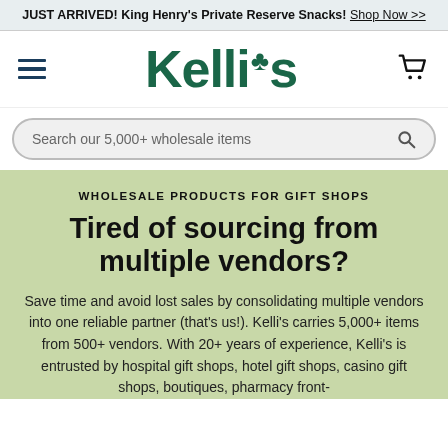JUST ARRIVED! King Henry's Private Reserve Snacks! Shop Now >>
[Figure (logo): Kelli's wholesale gift shop logo with shamrock]
Search our 5,000+ wholesale items
WHOLESALE PRODUCTS FOR GIFT SHOPS
Tired of sourcing from multiple vendors?
Save time and avoid lost sales by consolidating multiple vendors into one reliable partner (that's us!). Kelli's carries 5,000+ items from 500+ vendors. With 20+ years of experience, Kelli's is entrusted by hospital gift shops, hotel gift shops, casino gift shops, boutiques, pharmacy front-